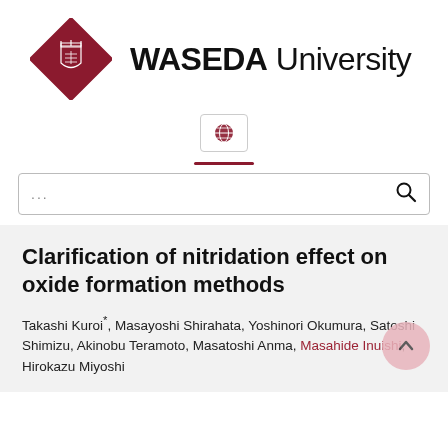[Figure (logo): Waseda University logo: red diamond with crest on left, 'WASEDA University' text on right]
[Figure (other): Globe/language icon in a rounded rectangle button]
[Figure (other): Dark red horizontal divider line]
... (search box placeholder)
Clarification of nitridation effect on oxide formation methods
Takashi Kuroi*, Masayoshi Shirahata, Yoshinori Okumura, Satoshi Shimizu, Akinobu Teramoto, Masatoshi Anma, Masahide Inuishi, Hirokazu Miyoshi